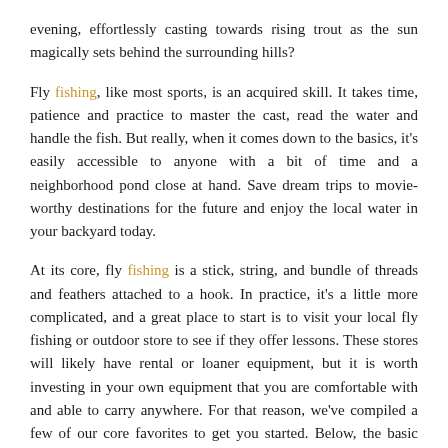evening, effortlessly casting towards rising trout as the sun magically sets behind the surrounding hills?
Fly fishing, like most sports, is an acquired skill. It takes time, patience and practice to master the cast, read the water and handle the fish. But really, when it comes down to the basics, it's easily accessible to anyone with a bit of time and a neighborhood pond close at hand. Save dream trips to movie-worthy destinations for the future and enjoy the local water in your backyard today.
At its core, fly fishing is a stick, string, and bundle of threads and feathers attached to a hook. In practice, it's a little more complicated, and a great place to start is to visit your local fly fishing or outdoor store to see if they offer lessons. These stores will likely have rental or loaner equipment, but it is worth investing in your own equipment that you are comfortable with and able to carry anywhere. For that reason, we've compiled a few of our core favorites to get you started. Below, the basic equipment you need to get started in fly fishing.
Orvis Encounter Fly Rod Outfit